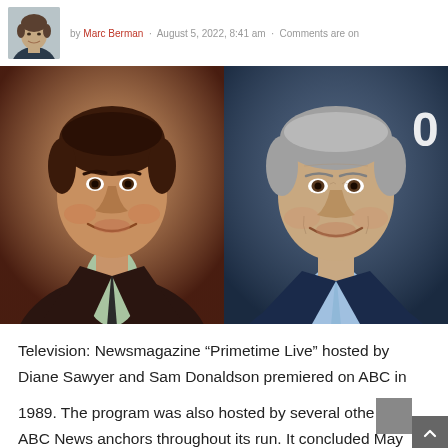by Marc Berman · August 5, 2022, 8:41 am · Comments are on
[Figure (photo): Two side-by-side photos of Tony Bennett: young man in dark blazer with tie on left (vintage color photo), older man with gray hair in navy suit and light blue tie on right (recent photo)]
Television: Newsmagazine “Primetime Live” hosted by Diane Sawyer and Sam Donaldson premiered on ABC in 1989. The program was also hosted by several other ABC News anchors throughout its run. It concluded May